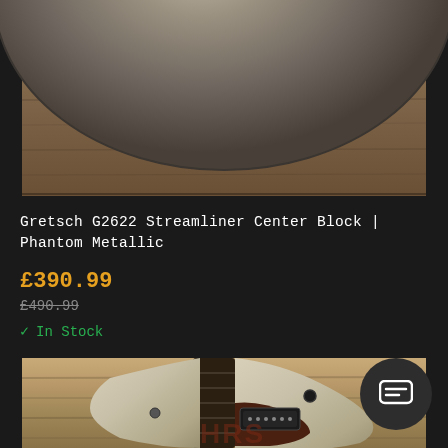[Figure (photo): Top portion of a Gretsch G2622 Streamliner guitar body showing a metallic gray finish with a wooden background]
Gretsch G2622 Streamliner Center Block | Phantom Metallic
£390.99
£490.99
In Stock
[Figure (photo): Bottom portion showing a cream/vintage white Gretsch electric guitar body with dark brown pickguard and humbucker pickup against a warm wooden plank background, with HRS watermark]